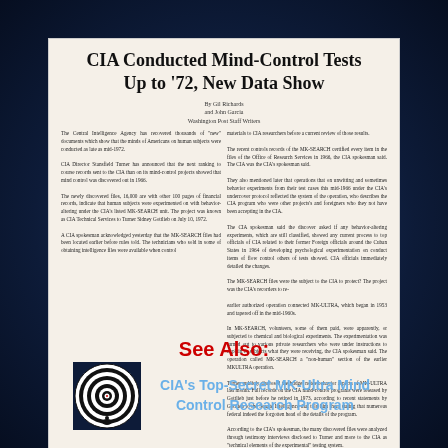[Figure (screenshot): Newspaper article clipping with headline 'CIA Conducted Mind-Control Tests Up to '72, New Data Show' with two-column text body]
CIA Conducted Mind-Control Tests Up to '72, New Data Show
Two-column newspaper article body text about CIA mind-control experiments, MKULTRA program, documents released, experiments on unwitting subjects.
See Also:
[Figure (logo): Black and white spiral hypnosis optical illusion logo]
CIA's Top-Secret MK-Ultra Mind Control Research Program